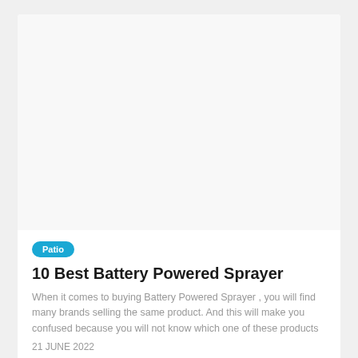[Figure (other): Large white/light grey image placeholder area at the top of an article card]
Patio
10 Best Battery Powered Sprayer
When it comes to buying Battery Powered Sprayer , you will find many brands selling the same product. And this will make you confused because you will not know which one of these products
21 JUNE 2022